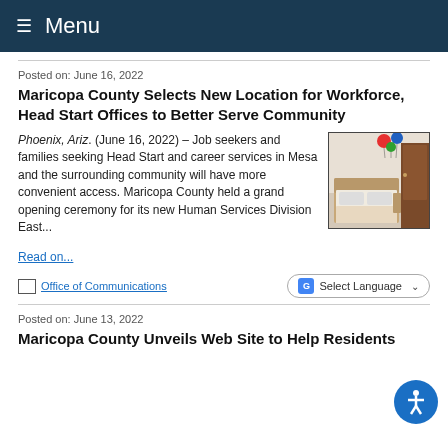Menu
Posted on: June 16, 2022
Maricopa County Selects New Location for Workforce, Head Start Offices to Better Serve Community
Phoenix, Ariz. (June 16, 2022) – Job seekers and families seeking Head Start and career services in Mesa and the surrounding community will have more convenient access. Maricopa County held a grand opening ceremony for its new Human Services Division East...
[Figure (photo): Interior room photo showing a bed with decorative pillows and colorful balloons near a door]
Read on...
Office of Communications
Posted on: June 13, 2022
Maricopa County Unveils Web Site to Help Residents